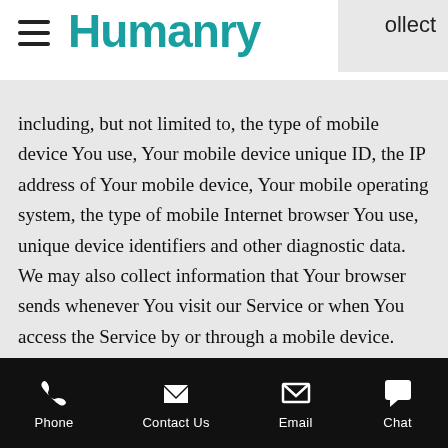ollect
Humanry
including, but not limited to, the type of mobile device You use, Your mobile device unique ID, the IP address of Your mobile device, Your mobile operating system, the type of mobile Internet browser You use, unique device identifiers and other diagnostic data. We may also collect information that Your browser sends whenever You visit our Service or when You access the Service by or through a mobile device.
Phone   Contact Us   Email   Chat